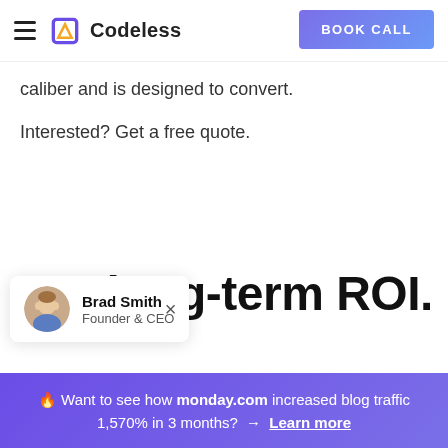Codeless | BOOK CALL
caliber and is designed to convert.
Interested? Get a free quote.
Get long-term ROI.
Brad Smith
Founder & CEO
🔥 Want to see how monday.com increased blog traffic 1,570% in 3 months? → Learn more